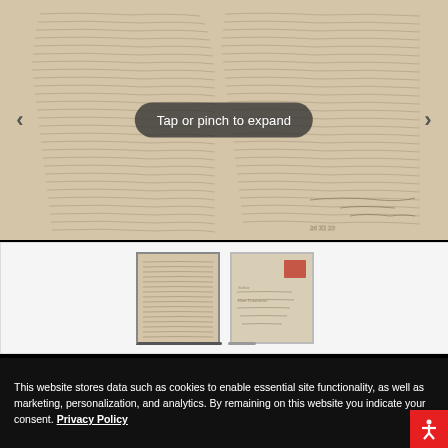[Figure (photo): Scanned handwritten letter in Spanish, two pages/columns of cursive handwriting on aged paper, with left and right navigation arrows and a 'Tap or pinch to expand' overlay button]
[Figure (photo): Thumbnail strip showing two smaller images: the handwritten letter page and the envelope with a red postage stamp]
This website stores data such as cookies to enable essential site functionality, as well as marketing, personalization, and analytics. By remaining on this website you indicate your consent. Privacy Policy